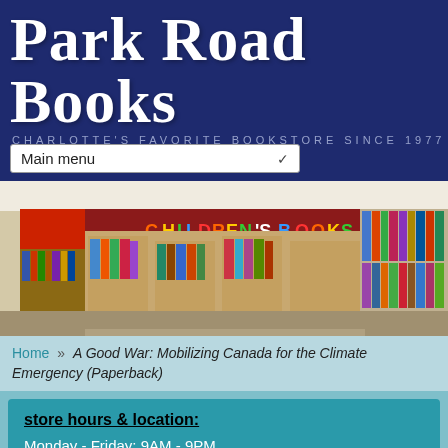Park Road Books
CHARLOTTE'S FAVORITE BOOKSTORE SINCE 1977
Main menu
[Figure (photo): Interior of Park Road Books showing the children's books section with shelves of books and a red sign reading 'CHILDREN'S BOOKS']
Home » A Good War: Mobilizing Canada for the Climate Emergency (Paperback)
store hours & location:
Monday - Friday: 9AM - 9PM
Saturday & Sunday: 10AM- 6PM
4139 Park Rd. Charlotte, NC 28209